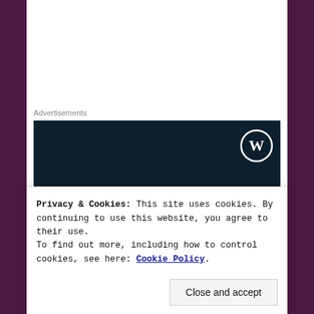Advertisements
[Figure (illustration): Dark navy blue advertisement banner with WordPress logo (W in circle) in top right. Text reads: 'Opinions. We all have them!' in white serif and bold fonts.]
(I was on my way to meet my cousin, Paula, in Arkansas.). C: Diagnosed diabetic. (I don't remember
Privacy & Cookies: This site uses cookies. By continuing to use this website, you agree to their use.
To find out more, including how to control cookies, see here: Cookie Policy
Close and accept